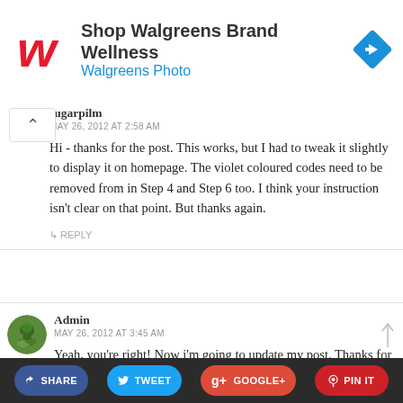[Figure (screenshot): Walgreens Brand Wellness advertisement banner with Walgreens logo (stylized W in red), text 'Shop Walgreens Brand Wellness' and 'Walgreens Photo' in blue, and a blue diamond navigation icon on the right.]
sugarpilm
MAY 26, 2012 AT 2:58 AM
Hi - thanks for the post. This works, but I had to tweak it slightly to display it on homepage. The violet coloured codes need to be removed from in Step 4 and Step 6 too. I think your instruction isn't clear on that point. But thanks again.
↳ REPLY
[Figure (photo): Small circular avatar icon showing a green zen stones/spa image for Admin user.]
Admin
MAY 26, 2012 AT 3:45 AM
Yeah, you're right! Now i'm going to update my post. Thanks for telling me XD
[Figure (other): Social share bar with buttons: SHARE (dark blue), TWEET (light blue), GOOGLE+ (orange-red), PIN IT (red)]